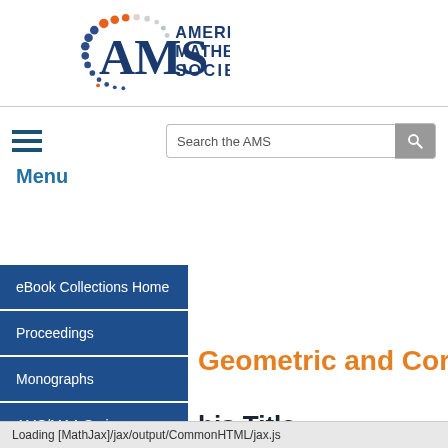[Figure (logo): American Mathematical Society logo with AMS text and colorful dot arc]
Search the AMS
Menu
eBook Collections Home
Proceedings
Monographs
AMS/MAA Series
Memoirs
Geometric and Cor
his Title
Loading [MathJax]/jax/output/CommonHTML/jax.js